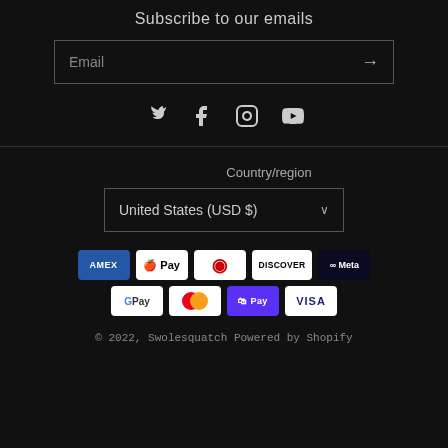Subscribe to our emails
Email
[Figure (infographic): Social media icons: Twitter, Facebook, Instagram, YouTube]
Country/region
United States (USD $)
[Figure (infographic): Payment icons: American Express, Apple Pay, Diners Club, Discover, Meta Pay, Google Pay, Mastercard, Shop Pay, Visa]
© 2022, Swolesquatch Powered by Shopify